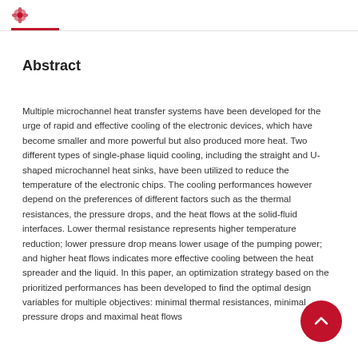Abstract
Multiple microchannel heat transfer systems have been developed for the urge of rapid and effective cooling of the electronic devices, which have become smaller and more powerful but also produced more heat. Two different types of single-phase liquid cooling, including the straight and U-shaped microchannel heat sinks, have been utilized to reduce the temperature of the electronic chips. The cooling performances however depend on the preferences of different factors such as the thermal resistances, the pressure drops, and the heat flows at the solid-fluid interfaces. Lower thermal resistance represents higher temperature reduction; lower pressure drop means lower usage of the pumping power; and higher heat flows indicates more effective cooling between the heat spreader and the liquid. In this paper, an optimization strategy based on the prioritized performances has been developed to find the optimal design variables for multiple objectives: minimal thermal resistances, minimal pressure drops and maximal heat flows